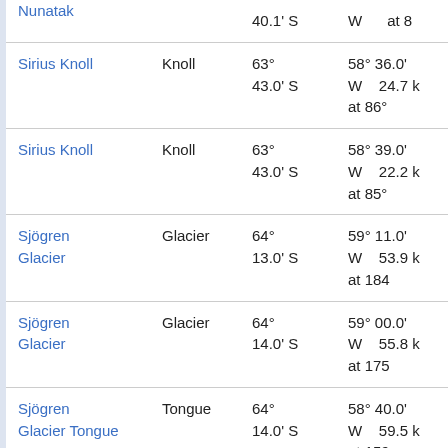| Name | Type | Latitude | Longitude | Distance |
| --- | --- | --- | --- | --- |
| Nunatak (partial) |  | ... S | W | at ... |
| Sirius Knoll | Knoll | 63° 43.0' S | 58° 36.0' W | 24.7 k at 86° |
| Sirius Knoll | Knoll | 63° 43.0' S | 58° 39.0' W | 22.2 k at 85° |
| Sjögren Glacier | Glacier | 64° 13.0' S | 59° 11.0' W | 53.9 k at 184 |
| Sjögren Glacier | Glacier | 64° 14.0' S | 59° 00.0' W | 55.8 k at 175 |
| Sjögren Glacier Tongue | Tongue | 64° 14.0' S | 58° 40.0' W | 59.5 k at 159 |
| Sjögren Glacier Tongue (historical) | Tongue | 64° 14.0' S | 58° 38.0' W | 60.1 k at 158 |
| Sjögren Inlet | Inlet | 64° 14.0' S | 59° 00.0' W | 55.8 k at 175 |